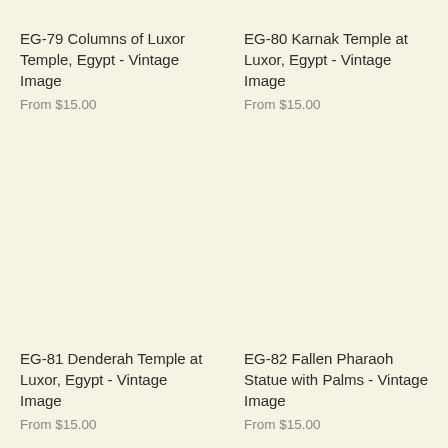EG-79 Columns of Luxor Temple, Egypt - Vintage Image
From $15.00
EG-80 Karnak Temple at Luxor, Egypt - Vintage Image
From $15.00
EG-81 Denderah Temple at Luxor, Egypt - Vintage Image
From $15.00
EG-82 Fallen Pharaoh Statue with Palms - Vintage Image
From $15.00